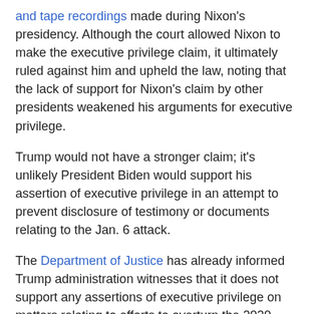and tape recordings made during Nixon's presidency. Although the court allowed Nixon to make the executive privilege claim, it ultimately ruled against him and upheld the law, noting that the lack of support for Nixon's claim by other presidents weakened his arguments for executive privilege.
Trump would not have a stronger claim; it's unlikely President Biden would support his assertion of executive privilege in an attempt to prevent disclosure of testimony or documents relating to the Jan. 6 attack.
The Department of Justice has already informed Trump administration witnesses that it does not support any assertions of executive privilege on matters relating to efforts to overturn the 2020 presidential election.
Trump administration witnesses could still challenge congressional subpoenas and delay the investigation. But the Department of Justice determination weakens arguments for executive privilege and may encourage witnesses to testify instead.